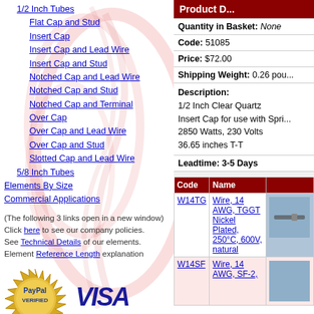1/2 Inch Tubes
Flat Cap and Stud
Insert Cap
Insert Cap and Lead Wire
Insert Cap and Stud
Notched Cap and Lead Wire
Notched Cap and Stud
Notched Cap and Terminal
Over Cap
Over Cap and Lead Wire
Over Cap and Stud
Slotted Cap and Lead Wire
5/8 Inch Tubes
Elements By Size
Commercial Applications
(The following 3 links open in a new window)
Click here to see our company policies.
See Technical Details of our elements.
Element Reference Length explanation
[Figure (logo): PayPal Verified gold seal badge]
[Figure (logo): VISA logo in blue italic]
[Figure (logo): MasterCard logo red and orange circles]
[Figure (logo): Discover Network logo]
Product D...
| Code | Name |  |
| --- | --- | --- |
| W14TG | Wire, 14 AWG, TGGT Nickel Plated, 250°C, 600V, natural | [image] |
| W14SF | Wire, 14 AWG, SF-2, | [image] |
Quantity in Basket: None
Code: 51085
Price: $72.00
Shipping Weight: 0.26 pou...
Description:
1/2 Inch Clear Quartz
Insert Cap for use with Spri...
2850 Watts, 230 Volts
36.65 inches T-T
Leadtime: 3-5 Days